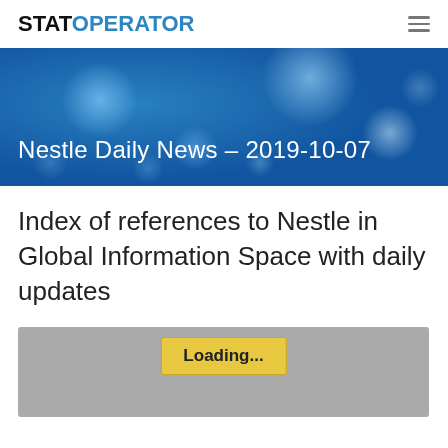STATOPERATOR
Nestle Daily News – 2019-10-07
Index of references to Nestle in Global Information Space with daily updates
[Figure (other): Loading widget placeholder with grey background and yellow Loading... button]